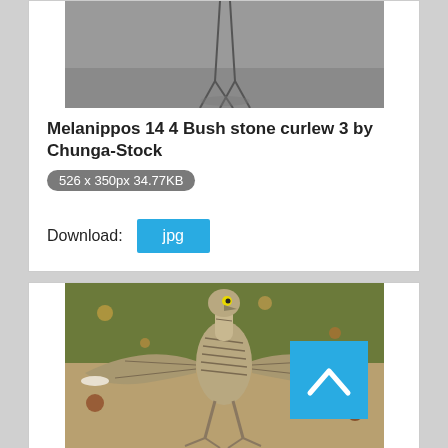[Figure (photo): Partial view of a bird (bush stone curlew) on grey ground, top portion of image cropped]
Melanippos 14 4 Bush stone curlew 3 by Chunga-Stock
526 x 350px 34.77KB
Download: jpg
[Figure (photo): Bush stone curlew bird with wings spread wide, standing on sandy ground with green vegetation in background. A blue scroll-to-top button overlay is visible in the upper right area of the image.]